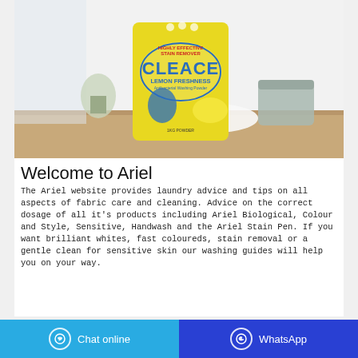[Figure (photo): Product photo of a yellow bag of CLEACE Lemon Freshness Antibacterial Washing Powder on a wooden surface with a plant and wicker basket in the background]
Welcome to Ariel
The Ariel website provides laundry advice and tips on all aspects of fabric care and cleaning. Advice on the correct dosage of all it's products including Ariel Biological, Colour and Style, Sensitive, Handwash and the Ariel Stain Pen. If you want brilliant whites, fast coloureds, stain removal or a gentle clean for sensitive skin our washing guides will help you on your way.
Chat online | WhatsApp